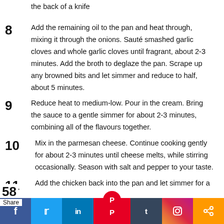the back of a knife
8 Add the remaining oil to the pan and heat through, mixing it through the onions. Sauté smashed garlic cloves and whole garlic cloves until fragrant, about 2-3 minutes. Add the broth to deglaze the pan. Scrape up any browned bits and let simmer and reduce to half, about 5 minutes.
9 Reduce heat to medium-low. Pour in the cream. Bring the sauce to a gentle simmer for about 2-3 minutes, combining all of the flavours together.
10 Mix in the parmesan cheese. Continue cooking gently for about 2-3 minutes until cheese melts, while stirring occasionally. Season with salt and pepper to your taste.
11 Add the chicken back into the pan and let simmer for a ... The chicken breast will soak up all of the delicious